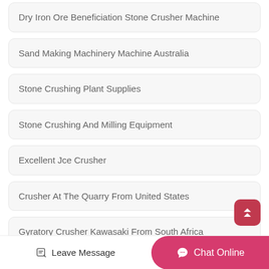Dry Iron Ore Beneficiation Stone Crusher Machine
Sand Making Machinery Machine Australia
Stone Crushing Plant Supplies
Stone Crushing And Milling Equipment
Excellent Jce Crusher
Crusher At The Quarry From United States
Gyratory Crusher Kawasaki From South Africa
Leave Message  Chat Online